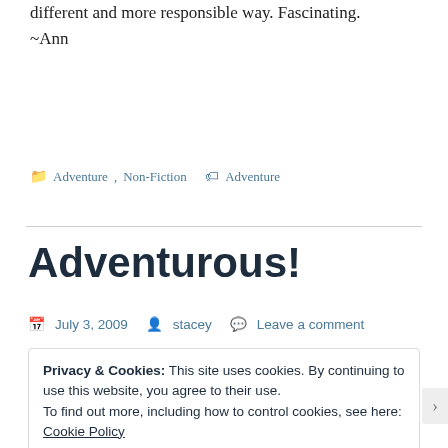different and more responsible way. Fascinating.
~Ann
Adventure, Non-Fiction  Adventure
Adventurous!
July 3, 2009  stacey  Leave a comment
Privacy & Cookies: This site uses cookies. By continuing to use this website, you agree to their use.
To find out more, including how to control cookies, see here: Cookie Policy
Close and accept